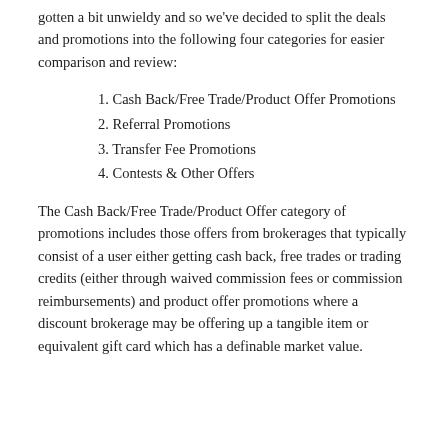gotten a bit unwieldy and so we've decided to split the deals and promotions into the following four categories for easier comparison and review:
1. Cash Back/Free Trade/Product Offer Promotions
2. Referral Promotions
3. Transfer Fee Promotions
4. Contests & Other Offers
The Cash Back/Free Trade/Product Offer category of promotions includes those offers from brokerages that typically consist of a user either getting cash back, free trades or trading credits (either through waived commission fees or commission reimbursements) and product offer promotions where a discount brokerage may be offering up a tangible item or equivalent gift card which has a definable market value.